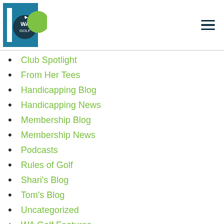[Figure (logo): WA Golf 100th anniversary logo with blue background, green golf ball circle, and WA Golf text]
Club Spotlight
From Her Tees
Handicapping Blog
Handicapping News
Membership Blog
Membership News
Podcasts
Rules of Golf
Shari's Blog
Tom's Blog
Uncategorized
WA Golf Features
WA Golf News
Youth Golf